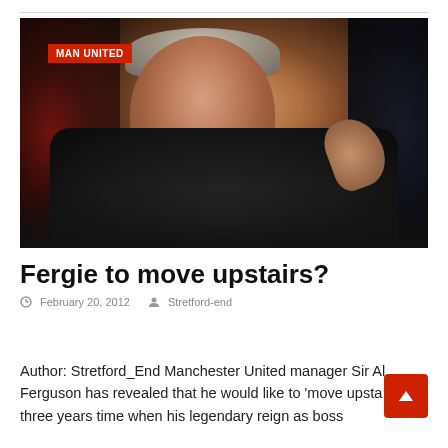[Figure (photo): Sir Alex Ferguson, Manchester United manager, gesturing on the touchline wearing a dark jacket. Red 'MAN UNITED' label overlay in top-left corner.]
Fergie to move upstairs?
February 20, 2012   Stretford-end
Author: Stretford_End Manchester United manager Sir Al Ferguson has revealed that he would like to 'move upsta two or three years time when his legendary reign as boss